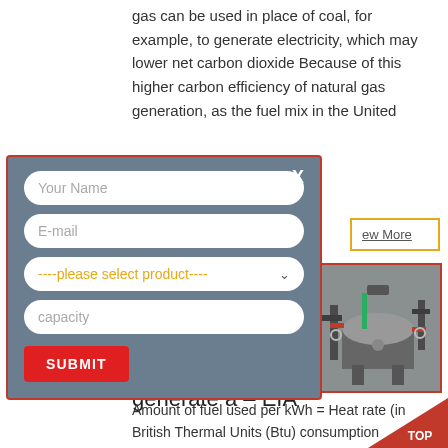gas can be used in place of coal, for example, to generate electricity, which may lower net carbon dioxide Because of this higher carbon efficiency of natural gas generation, as the fuel mix in the United
[Figure (screenshot): A modal/popup form with a dark blue-grey background and red border. Contains fields: Your Name, E-mail, a product dropdown (----please select product----), capacity field, and a red SUBMIT button. A close X button is in the top right.]
ew More
[Figure (photo): Industrial boiler or pressure vessel equipment photo showing large cylindrical tank with pipes and valves in an industrial setting.]
petroleum is used to generate a – EIA
Amount of fuel used per kWh = Heat rate (in British Thermal Units (Btu) consumption